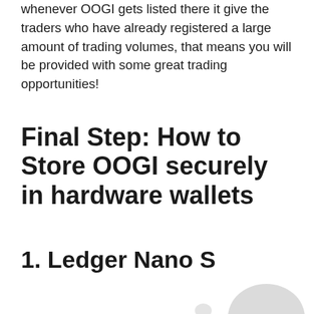whenever OOGI gets listed there it give the traders who have already registered a large amount of trading volumes, that means you will be provided with some great trading opportunities!
Final Step: How to Store OOGI securely in hardware wallets
1. Ledger Nano S
[Figure (illustration): Partial decorative graphic visible at bottom right corner of page]